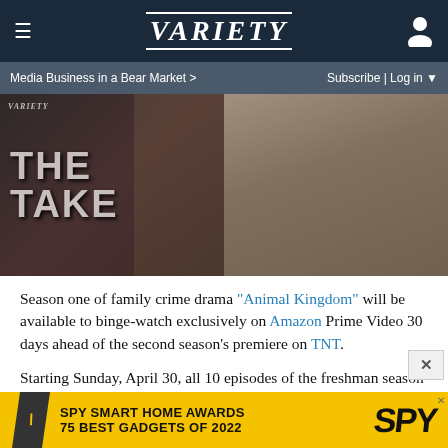≡  VARIETY  [user icon]
Media Business in a Bear Market >   Subscribe | Log in ▼
[Figure (photo): Hero image split into two halves: left side shows a person in a sparkly/sequined outfit with 'VARIETY THE TAKE' text overlay; right side shows a person in a light grey suit.]
Season one of family crime drama "Animal Kingdom" will be available to binge-watch exclusively on Amazon Prime Video 30 days ahead of the second season's premiere on TNT.
Starting Sunday, April 30, all 10 episodes of the freshman season of "Animal Kingdom" will be available on Prime Video. TNT will premiere season 2, comprising 13 episodes, on May 30 — and the Amazon pact, as with numerous similar subscription VOD deals, is structured to kindle interest in the
[Figure (infographic): Advertisement banner: SPY SMART HOME AWARDS 75 BEST GADGETS OF 2022 with yellow background and SPY logo in black diagonal text]